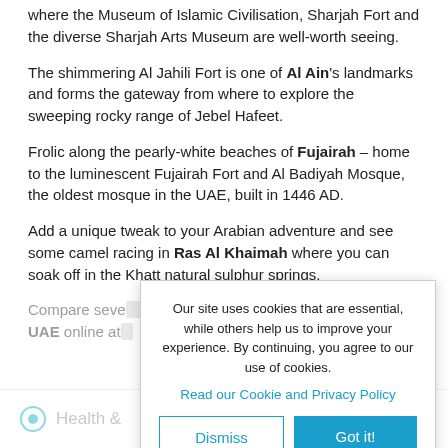where the Museum of Islamic Civilisation, Sharjah Fort and the diverse Sharjah Arts Museum are well-worth seeing.
The shimmering Al Jahili Fort is one of Al Ain's landmarks and forms the gateway from where to explore the sweeping rocky range of Jebel Hafeet.
Frolic along the pearly-white beaches of Fujairah – home to the luminescent Fujairah Fort and Al Badiyah Mosque, the oldest mosque in the UAE, built in 1446 AD.
Add a unique tweak to your Arabian adventure and see some camel racing in Ras Al Khaimah where you can soak off in the Khatt natural sulphur springs.
Compare seve[ral airlines and book cheap flights to the] UAE online at[...]
Health &[...]
Our site uses cookies that are essential, while others help us to improve your experience. By continuing, you agree to our use of cookies.
Read our Cookie and Privacy Policy
Dismiss
Got it!